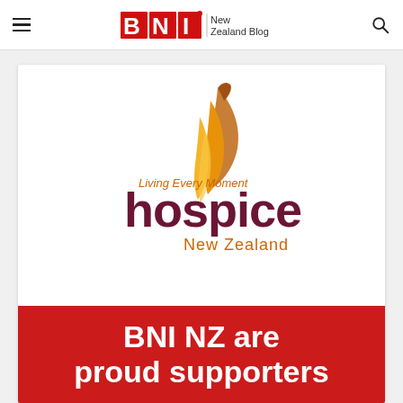BNI New Zealand Blog
[Figure (logo): Hospice New Zealand logo with tagline 'Living Every Moment', stylized orange feather/flame graphic, dark red 'hospice' wordmark, orange 'New Zealand' text]
BNI NZ are proud supporters